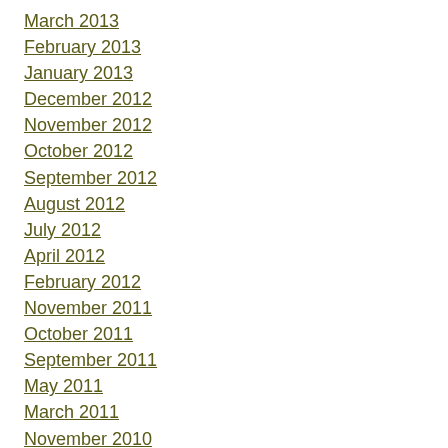March 2013
February 2013
January 2013
December 2012
November 2012
October 2012
September 2012
August 2012
July 2012
April 2012
February 2012
November 2011
October 2011
September 2011
May 2011
March 2011
November 2010
October 2010
April 2010